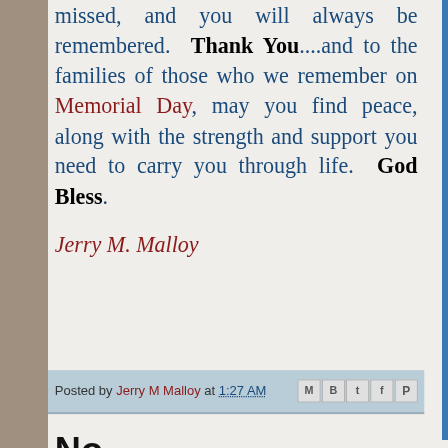missed, and you will always be remembered. Thank You....and to the families of those who we remember on Memorial Day, may you find peace, along with the strength and support you need to carry you through life. God Bless.
Jerry M. Malloy
Posted by Jerry M Malloy at 1:27 AM
No comments:
Post a Comment